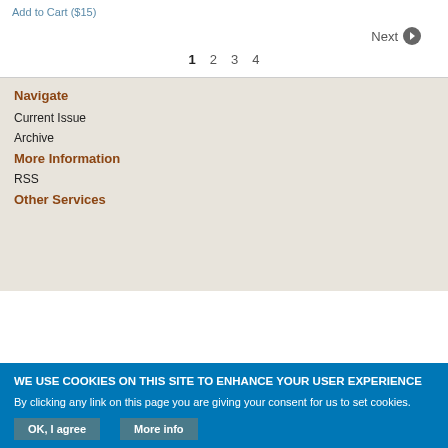Add to Cart ($15)
Next →
1 2 3 4
Navigate
Current Issue
Archive
More Information
RSS
Other Services
WE USE COOKIES ON THIS SITE TO ENHANCE YOUR USER EXPERIENCE
By clicking any link on this page you are giving your consent for us to set cookies.
OK, I agree
More info